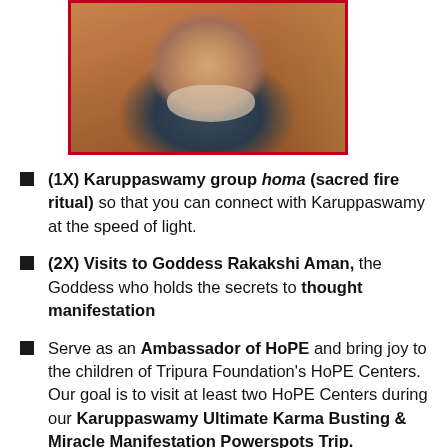[Figure (photo): Portrait photo of an older man with a white/grey beard, wearing a dark blue shirt, seated in front of an ornate wooden carved background. Photo has a red/crimson border.]
(1X) Karuppaswamy group homa (sacred fire ritual) so that you can connect with Karuppaswamy at the speed of light.
(2X) Visits to Goddess Rakakshi Aman, the Goddess who holds the secrets to thought manifestation
Serve as an Ambassador of HoPE and bring joy to the children of Tripura Foundation's HoPE Centers. Our goal is to visit at least two HoPE Centers during our Karuppaswamy Ultimate Karma Busting & Miracle Manifestation Powerspots Trip.